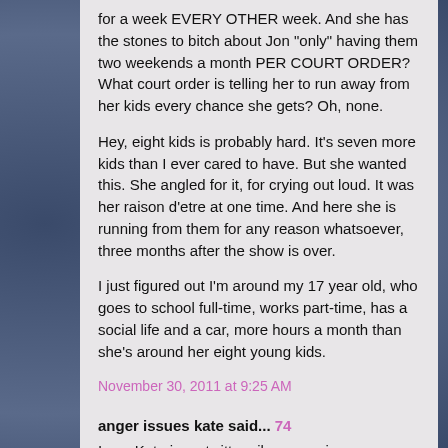for a week EVERY OTHER week. And she has the stones to bitch about Jon "only" having them two weekends a month PER COURT ORDER? What court order is telling her to run away from her kids every chance she gets? Oh, none.
Hey, eight kids is probably hard. It's seven more kids than I ever cared to have. But she wanted this. She angled for it, for crying out loud. It was her raison d'etre at one time. And here she is running from them for any reason whatsoever, three months after the show is over.
I just figured out I'm around my 17 year old, who goes to school full-time, works part-time, has a social life and a car, more hours a month than she's around her eight young kids.
November 30, 2011 at 9:25 AM
anger issues kate said... 74
I see Kate is on twitter silence again.